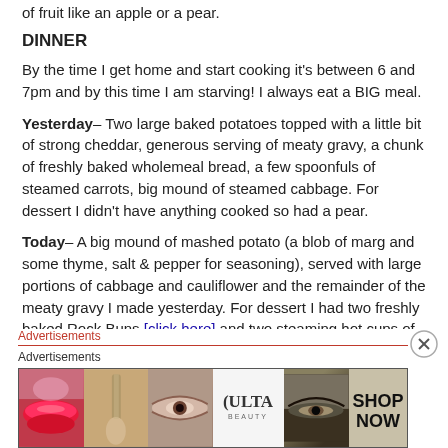of fruit like an apple or a pear.
DINNER
By the time I get home and start cooking it’s between 6 and 7pm and by this time I am starving! I always eat a BIG meal.
Yesterday– Two large baked potatoes topped with a little bit of strong cheddar, generous serving of meaty gravy, a chunk of freshly baked wholemeal bread, a few spoonfuls of steamed carrots, big mound of steamed cabbage. For dessert I didn’t have anything cooked so had a pear.
Today– A big mound of mashed potato (a blob of marg and some thyme, salt & pepper for seasoning), served with large portions of cabbage and cauliflower and the remainder of the meaty gravy I made yesterday. For dessert I had two freshly baked Rock Buns [click here] and two steaming hot cups of tea!
Advertisements
Advertisements
[Figure (other): Advertisement banner for ULTA Beauty showing close-up cosmetics images: lips with red lipstick, makeup brush, eye with eyeshadow, ULTA logo, dark eye with eyeliner, and SHOP NOW text.]